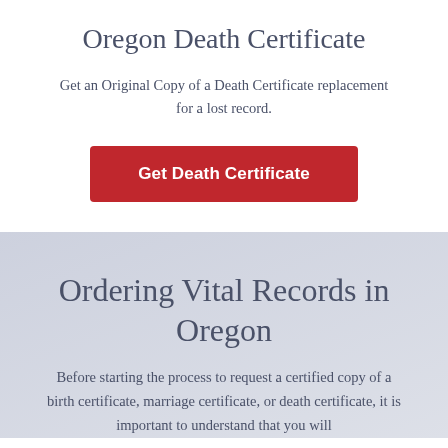Oregon Death Certificate
Get an Original Copy of a Death Certificate replacement for a lost record.
Get Death Certificate
Ordering Vital Records in Oregon
Before starting the process to request a certified copy of a birth certificate, marriage certificate, or death certificate, it is important to understand that you will